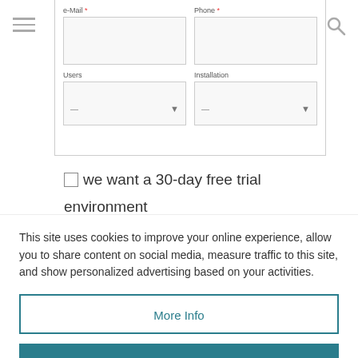[Figure (screenshot): Partial web form showing e-Mail and Phone input fields, Users and Installation dropdown fields, hamburger menu icon top-left, search icon top-right]
we want a 30-day free trial environment
This site uses cookies to improve your online experience, allow you to share content on social media, measure traffic to this site, and show personalized advertising based on your activities.
More Info
Accept